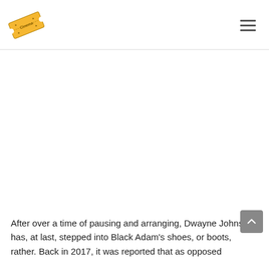Cinema (logo) + hamburger menu
[Figure (other): Large blank advertisement area]
After over a time of pausing and arranging, Dwayne Johnson has, at last, stepped into Black Adam's shoes, or boots, rather. Back in 2017, it was reported that as opposed